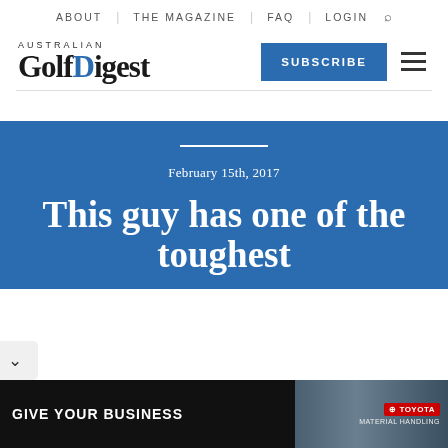ABOUT | THE MAGAZINE | FAQ | LOGIN
[Figure (logo): Australian Golf Digest logo with blue dot on D]
SUBSCRIBE
February 15th, 2017
This guy has one of the toughest
[Figure (photo): Advertisement banner: GIVE YOUR BUSINESS with Toyota Material Handling branding and forklift image]